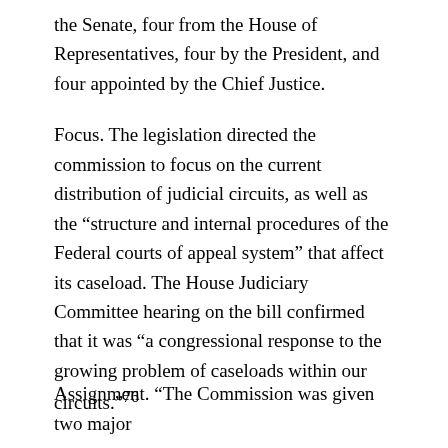the Senate, four from the House of Representatives, four by the President, and four appointed by the Chief Justice.
Focus. The legislation directed the commission to focus on the current distribution of judicial circuits, as well as the “structure and internal procedures of the Federal courts of appeal system” that affect its caseload. The House Judiciary Committee hearing on the bill confirmed that it was “a congressional response to the growing problem of caseloads within our circuits.”76
Assignment. “The Commission was given two major